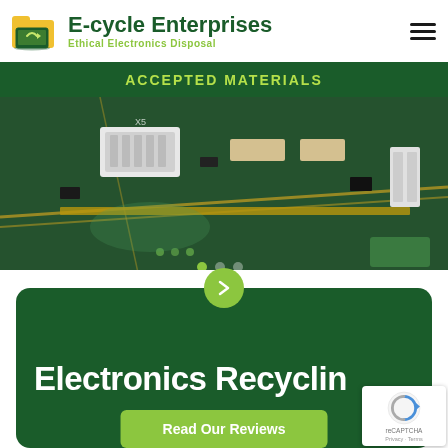[Figure (logo): E-cycle Enterprises logo with green folder/laptop icon, company name in dark green, tagline 'Ethical Electronics Disposal' in yellow-green]
ACCEPTED MATERIALS
[Figure (photo): Close-up photo of a green printed circuit board with electronic components, connectors, and chips]
[Figure (screenshot): Green card section with right arrow button, large white text 'Electronics Recycling' partially visible, and a green 'Read Our Reviews' button. reCAPTCHA badge visible in bottom-right corner.]